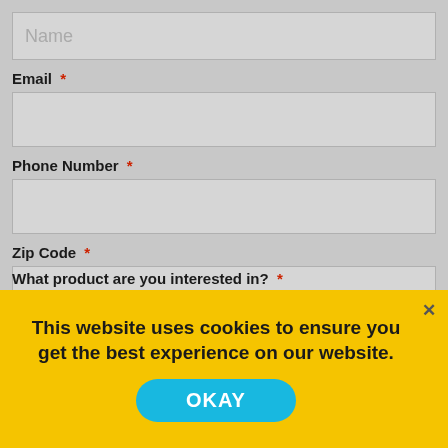Name (placeholder)
Email *
Phone Number *
Zip Code *
What product are you interested in? *
This website uses cookies to ensure you get the best experience on our website.
OKAY